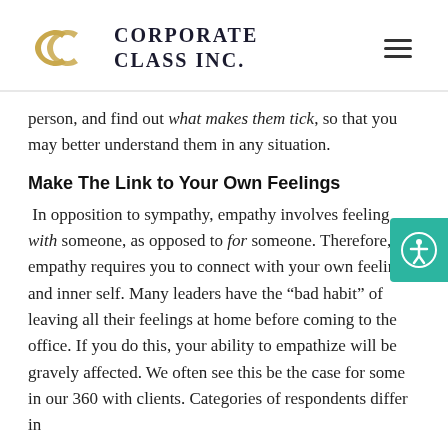[Figure (logo): Corporate Class Inc. logo with golden interlocked C shapes and company name in dark serif text]
person, and find out what makes them tick, so that you may better understand them in any situation.
Make The Link to Your Own Feelings
In opposition to sympathy, empathy involves feeling with someone, as opposed to for someone. Therefore, empathy requires you to connect with your own feelings and inner self. Many leaders have the “bad habit” of leaving all their feelings at home before coming to the office. If you do this, your ability to empathize will be gravely affected. We often see this be the case for some in our 360 with clients. Categories of respondents differ in